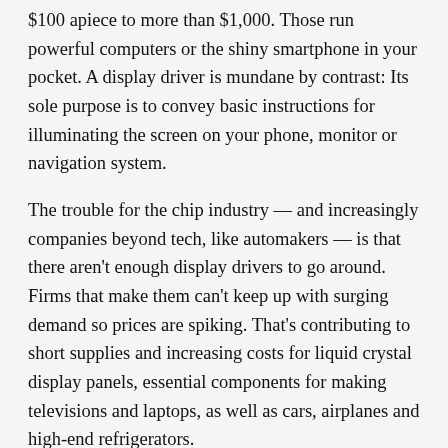$100 apiece to more than $1,000. Those run powerful computers or the shiny smartphone in your pocket. A display driver is mundane by contrast: Its sole purpose is to convey basic instructions for illuminating the screen on your phone, monitor or navigation system.
The trouble for the chip industry — and increasingly companies beyond tech, like automakers — is that there aren't enough display drivers to go around. Firms that make them can't keep up with surging demand so prices are spiking. That's contributing to short supplies and increasing costs for liquid crystal display panels, essential components for making televisions and laptops, as well as cars, airplanes and high-end refrigerators.